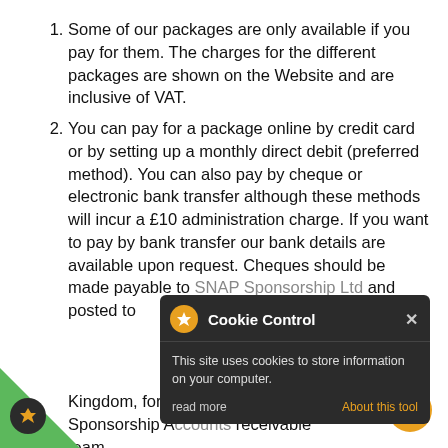Some of our packages are only available if you pay for them. The charges for the different packages are shown on the Website and are inclusive of VAT.
You can pay for a package online by credit card or by setting up a monthly direct debit (preferred method). You can also pay by cheque or electronic bank transfer although these methods will incur a £10 administration charge. If you want to pay by bank transfer our bank details are available upon request. Cheques should be made payable to SNAP Sponsorship Ltd and posted to [address partially obscured] (c/o Mentora) Jury [Farm, East Horsley], Ripley, [Surrey, GU23 1T United Kingdom, for the attention of SNAP Sponsorship Accounts Receivable team].
All payments (except cheques) are [continues below]